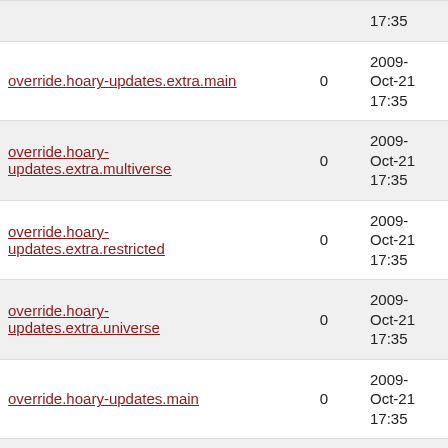| Name | Size | Date |
| --- | --- | --- |
|  |  | 17:35 |
| override.hoary-updates.extra.main | 0 | 2009-Oct-21 17:35 |
| override.hoary-updates.extra.multiverse | 0 | 2009-Oct-21 17:35 |
| override.hoary-updates.extra.restricted | 0 | 2009-Oct-21 17:35 |
| override.hoary-updates.extra.universe | 0 | 2009-Oct-21 17:35 |
| override.hoary-updates.main | 0 | 2009-Oct-21 17:35 |
| override.hoary-updates.main.src | 0 | 2009-Oct-21 17:35 |
| override.hoary-updates.multiverse | 0 | 2009-Oct-21 17:35 |
| override.hoary- | 0 | 2006-Jan-30 |